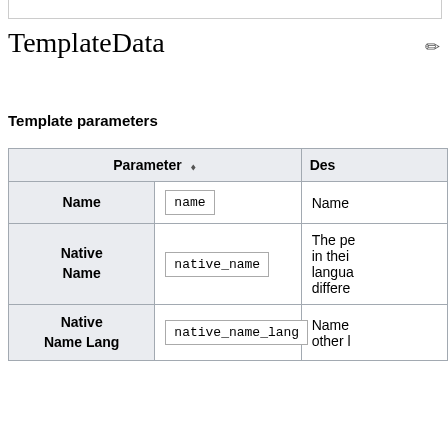TemplateData
Template parameters
| Parameter | Des… |
| --- | --- |
| Name | name | Name… |
| Native Name | native_name | The pe… in thei… langua… differe… |
| Native Name Lang | native_name_lang | Name… other l… |